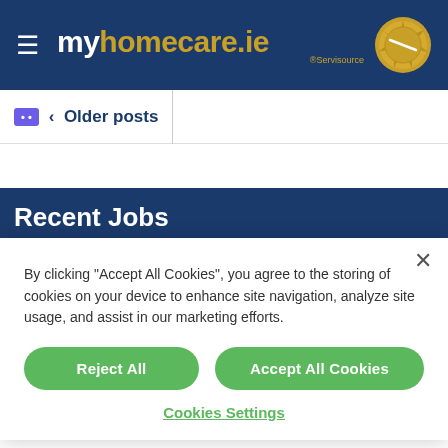[Figure (logo): myhomecare.ie logo with hamburger menu and gold award badge on dark blue header background]
‹ Older posts
Recent Jobs
By clicking “Accept All Cookies”, you agree to the storing of cookies on your device to enhance site navigation, analyze site usage, and assist in our marketing efforts.
Reject All
Accept All Cookies
Cookies Settings